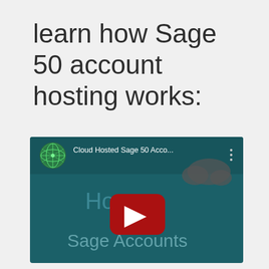learn how Sage 50 account hosting works:
[Figure (screenshot): YouTube video thumbnail for 'Cloud Hosted Sage 50 Acco...' showing a teal background with the text 'Ho... Sage Accounts', a YouTube play button in red, a green globe icon, a cloud graphic, and the video title in the top bar.]